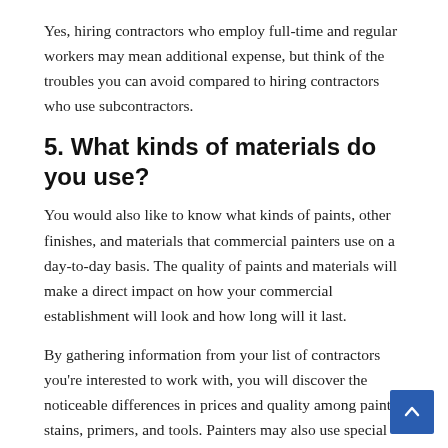Yes, hiring contractors who employ full-time and regular workers may mean additional expense, but think of the troubles you can avoid compared to hiring contractors who use subcontractors.
5. What kinds of materials do you use?
You would also like to know what kinds of paints, other finishes, and materials that commercial painters use on a day-to-day basis. The quality of paints and materials will make a direct impact on how your commercial establishment will look and how long will it last.
By gathering information from your list of contractors you're interested to work with, you will discover the noticeable differences in prices and quality among paints, stains, primers, and tools. Painters may also use special coatings for certain applications. For instance, comparing a $9 gallon of paint and a $ 40-gallon paint